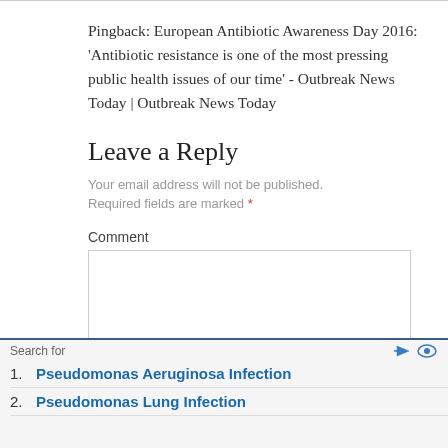Pingback: European Antibiotic Awareness Day 2016: 'Antibiotic resistance is one of the most pressing public health issues of our time' - Outbreak News Today | Outbreak News Today
Leave a Reply
Your email address will not be published.
Required fields are marked *
Comment
Search for
1. Pseudomonas Aeruginosa Infection
2. Pseudomonas Lung Infection